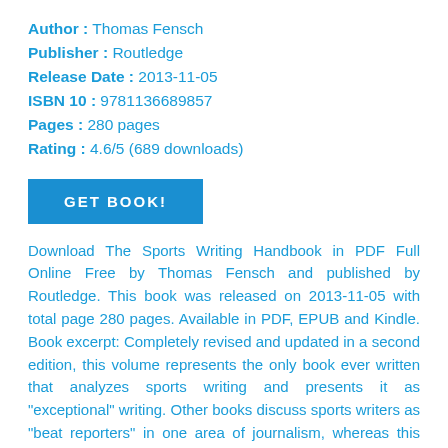Author : Thomas Fensch
Publisher : Routledge
Release Date : 2013-11-05
ISBN 10 : 9781136689857
Pages : 280 pages
Rating : 4.6/5 (689 downloads)
GET BOOK!
Download The Sports Writing Handbook in PDF Full Online Free by Thomas Fensch and published by Routledge. This book was released on 2013-11-05 with total page 280 pages. Available in PDF, EPUB and Kindle. Book excerpt: Completely revised and updated in a second edition, this volume represents the only book ever written that analyzes sports writing and presents it as "exceptional" writing. Other books discuss sports writers as "beat reporters" in one area of journalism, whereas this book shows